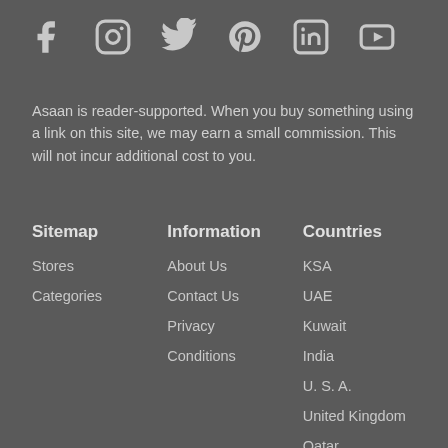[Figure (other): Social media icons: Facebook, Instagram, Twitter, Pinterest, LinkedIn, YouTube]
Asaan is reader-supported. When you buy something using a link on this site, we may earn a small commission. This will not incur additional cost to you.
Sitemap
Stores
Categories
Information
About Us
Contact Us
Privacy
Conditions
Countries
KSA
UAE
Kuwait
India
U. S. A.
United Kingdom
Qatar
Turkey
Oman
Bahrain